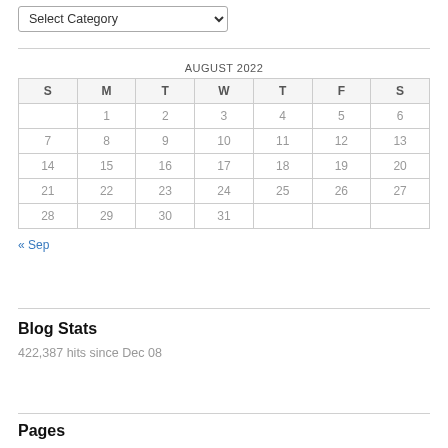Select Category (dropdown)
| S | M | T | W | T | F | S |
| --- | --- | --- | --- | --- | --- | --- |
|  | 1 | 2 | 3 | 4 | 5 | 6 |
| 7 | 8 | 9 | 10 | 11 | 12 | 13 |
| 14 | 15 | 16 | 17 | 18 | 19 | 20 |
| 21 | 22 | 23 | 24 | 25 | 26 | 27 |
| 28 | 29 | 30 | 31 |  |  |  |
« Sep
Blog Stats
422,387 hits since Dec 08
Pages